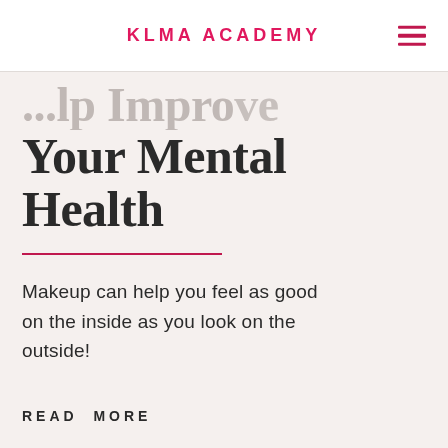KLMA ACADEMY
...can help improve Your Mental Health
Makeup can help you feel as good on the inside as you look on the outside!
READ MORE